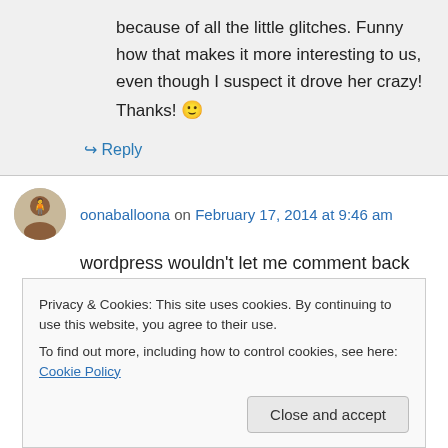because of all the little glitches. Funny how that makes it more interesting to us, even though I suspect it drove her crazy! Thanks! 🙂
↪ Reply
oonaballoona on February 17, 2014 at 9:46 am
wordpress wouldn't let me comment back when i read this, but i ADORED every bit of this post!!!
Privacy & Cookies: This site uses cookies. By continuing to use this website, you agree to their use.
To find out more, including how to control cookies, see here: Cookie Policy
Close and accept